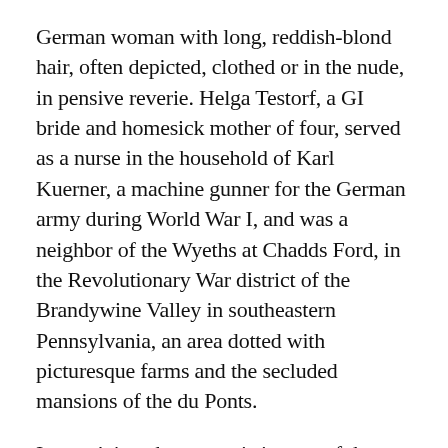German woman with long, reddish-blond hair, often depicted, clothed or in the nude, in pensive reverie. Helga Testorf, a GI bride and homesick mother of four, served as a nurse in the household of Karl Kuerner, a machine gunner for the German army during World War I, and was a neighbor of the Wyeths at Chadds Ford, in the Revolutionary War district of the Brandywine Valley in southeastern Pennsylvania, an area dotted with picturesque farms and the secluded mansions of the du Ponts.
It wasn't just the voyeuristic aura of the Helga exhibition, the museum's first one-man show granted to a living American painter, that annoyed critics and—according to Neil Harris's recent book about its longtime director J. Carter Brown—